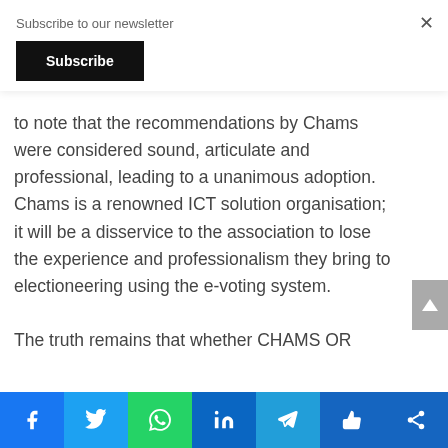Subscribe to our newsletter
Subscribe
to note that the recommendations by Chams were considered sound, articulate and professional, leading to a unanimous adoption.  Chams is a renowned ICT solution organisation; it will be a disservice to the association to lose the experience and professionalism they bring to electioneering using the e-voting system.
The truth remains that whether CHAMS OR